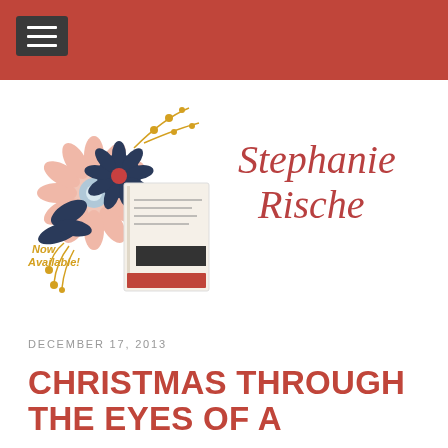[Figure (logo): Book cover with floral decoration and 'Now Available!' text alongside a stylized script logo reading 'Stephanie Rische']
DECEMBER 17, 2013
CHRISTMAS THROUGH THE EYES OF A